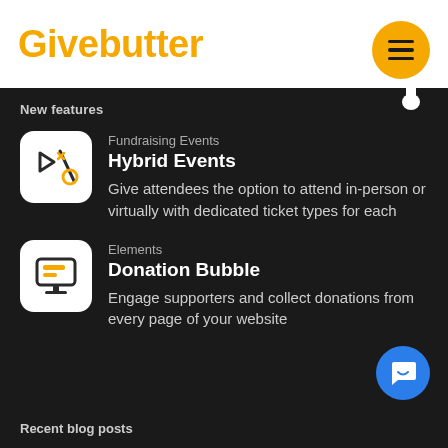Givebutter
New features
Fundraising Events
Hybrid Events
Give attendees the option to attend in-person or virtually with dedicated ticket types for each
Elements
Donation Bubble
Engage supporters and collect donations from every page of your website
Recent blog posts